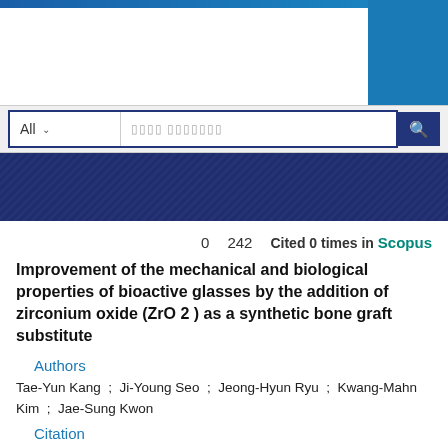[Figure (screenshot): Website header with blue square logo in top right corner and colored top stripe]
[Figure (screenshot): Search bar with 'All' dropdown selector and search input field, dark blue search button]
[Figure (screenshot): Dark navy blue navigation stripe with diagonal pattern]
0   242   Cited 0 times in Scopus
Improvement of the mechanical and biological properties of bioactive glasses by the addition of zirconium oxide (ZrO 2 ) as a synthetic bone graft substitute
Authors
Tae-Yun Kang ; Ji-Young Seo ; Jeong-Hyun Ryu ; Kwang-Mahn Kim ; Jae-Sung Kwon
Citation
JOURNAL OF BIOMEDICAL MATERIALS RESEARCH PART A